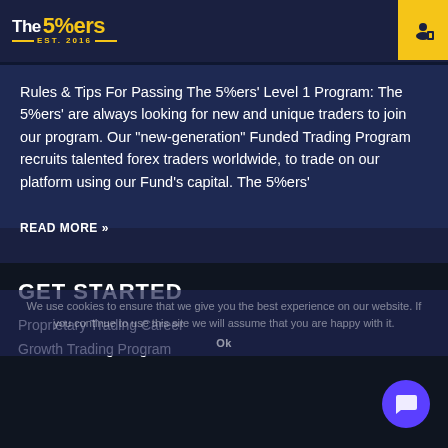The 5%ers — EST. 2016
Tips to Succeed on The5ers Funded Trader Program
Rules & Tips For Passing The 5%ers' Level 1 Program: The 5%ers' are always looking for new and unique traders to join our program. Our "new-generation" Funded Trading Program recruits talented forex traders worldwide, to trade on our platform using our Fund's capital. The 5%ers'
READ MORE »
We use cookies to ensure that we give you the best experience on our website. If you continue to use this site we will assume that you are happy with it.
GET STARTED
Proprietary Trading Career
Growth Trading Program